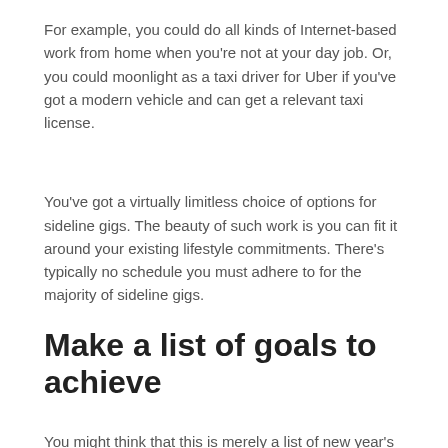For example, you could do all kinds of Internet-based work from home when you're not at your day job. Or, you could moonlight as a taxi driver for Uber if you've got a modern vehicle and can get a relevant taxi license.
You've got a virtually limitless choice of options for sideline gigs. The beauty of such work is you can fit it around your existing lifestyle commitments. There's typically no schedule you must adhere to for the majority of sideline gigs.
Make a list of goals to achieve
You might think that this is merely a list of new year's resolutions. Well, you're partially correct! The only